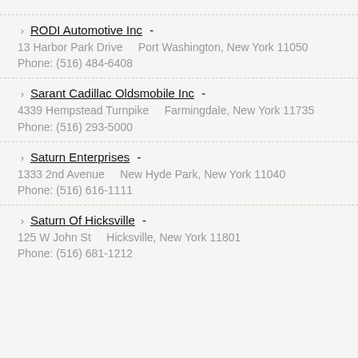RODI Automotive Inc - 13 Harbor Park Drive    Port Washington, New York 11050 Phone: (516) 484-6408
Sarant Cadillac Oldsmobile Inc - 4339 Hempstead Turnpike    Farmingdale, New York 11735 Phone: (516) 293-5000
Saturn Enterprises - 1333 2nd Avenue    New Hyde Park, New York 11040 Phone: (516) 616-1111
Saturn Of Hicksville - 125 W John St    Hicksville, New York 11801 Phone: (516) 681-1212